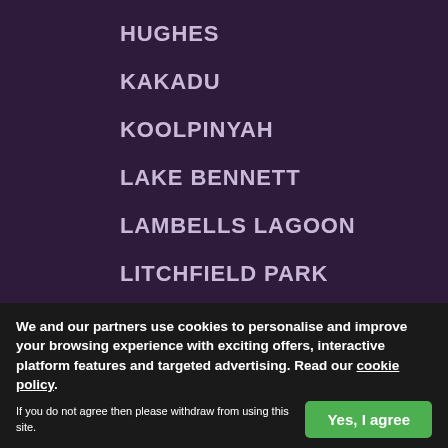HUGHES
KAKADU
KOOLPINYAH
LAKE BENNETT
LAMBELLS LAGOON
LITCHFIELD PARK
LIVINGSTONE
LLOYD CREEK
MANDORAH
MANINGRIDA
MARARUROA
MARGARET RIVER
MARRAKAI
We and our partners use cookies to personalise and improve your browsing experience with exciting offers, interactive platform features and targeted advertising. Read our cookie policy. If you do not agree then please withdraw from using this site.